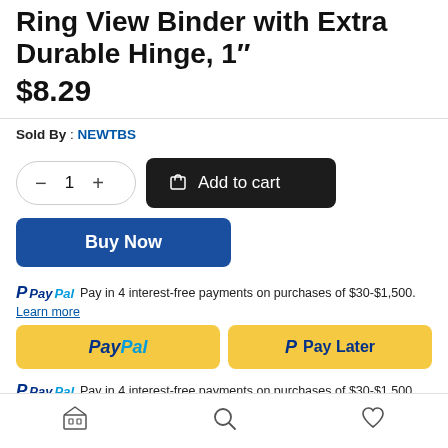Ring View Binder with Extra Durable Hinge, 1"
$8.29
Sold By : NEWTBS
[Figure (screenshot): Quantity selector with minus button, number 1, and plus button in a pill-shaped border]
[Figure (screenshot): Add to cart button with shopping bag icon on dark background]
[Figure (screenshot): Buy Now button in dark blue]
PayPal Pay in 4 interest-free payments on purchases of $30-$1,500.
Learn more
[Figure (screenshot): PayPal and Pay Later buttons on yellow/gold background]
PayPal Pay in 4 interest-free payments on purchases of $30-$1,500.
Learn more
Store | Search | Wishlist navigation icons